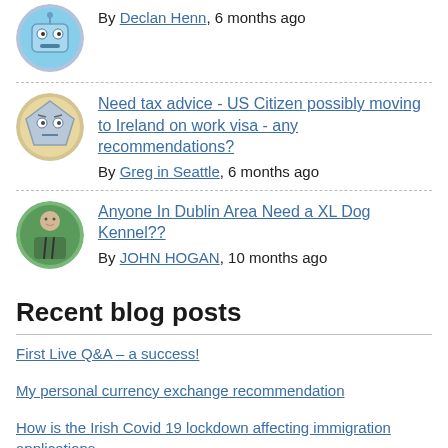By Declan Henn, 6 months ago
Need tax advice - US Citizen possibly moving to Ireland on work visa - any recommendations? By Greg in Seattle, 6 months ago
Anyone In Dublin Area Need a XL Dog Kennel?? By JOHN HOGAN, 10 months ago
Recent blog posts
First Live Q&A – a success!
My personal currency exchange recommendation
How is the Irish Covid 19 lockdown affecting immigration applications
Irish Foreign Birth Registration
New online resource to help you plan your journey home